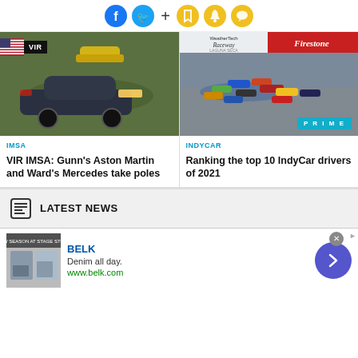[Figure (other): Social media icons: Facebook, Twitter, plus sign, bookmark, bell, chat bubble]
[Figure (photo): Racing car (Aston Martin #23) on track at VIR with yellow car in background, VIR badge overlay]
IMSA
VIR IMSA: Gunn's Aston Martin and Ward's Mercedes take poles
[Figure (photo): IndyCar race start at WeatherTech Raceway Laguna Seca with Firestone branding, PRIME badge]
INDYCAR
Ranking the top 10 IndyCar drivers of 2021
LATEST NEWS
[Figure (other): Advertisement for BELK: Denim all day. www.belk.com]